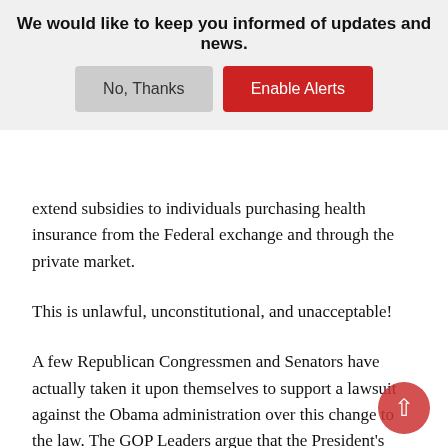We would like to keep you informed of updates and news.
No, Thanks
Enable Alerts
extend subsidies to individuals purchasing health insurance from the Federal exchange and through the private market.
This is unlawful, unconstitutional, and unacceptable!
A few Republican Congressmen and Senators have actually taken it upon themselves to support a lawsuit against the Obama administration over this change to the law. The GOP Leaders argue that the President's disregard for the law's